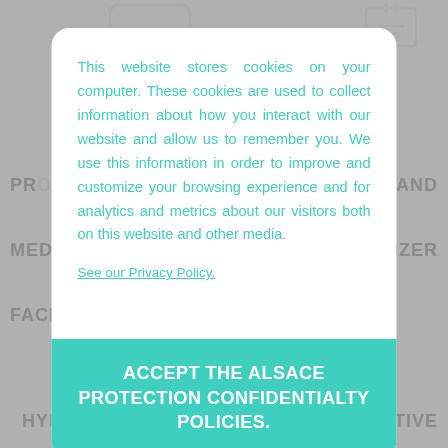[Figure (screenshot): Gray background with medical/PPE product icons and partially visible text labels: PROTECTIVE, HAND, MEDICAL, SANITIZER, FACE MASKS, HYDRO-, PROTECTIVE]
This website stores cookies on your computer. These cookies are used to collect information about how you interact with our website and allow us to remember you. We use this information in order to improve and customize your browsing experience and for analytics and metrics about our visitors both on this website and other media.
See our Privacy Policy.
ACCEPT THE ALSACE PROTECTION CONFIDENTIALTY POLICIES.